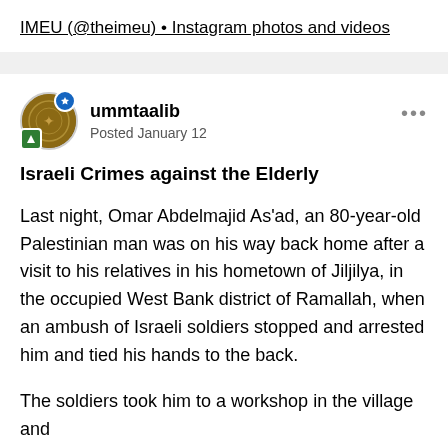IMEU (@theimeu) • Instagram photos and videos
ummtaalib
Posted January 12
Israeli Crimes against the Elderly
Last night, Omar Abdelmajid As'ad, an 80-year-old Palestinian man was on his way back home after a visit to his relatives in his hometown of Jiljilya, in the occupied West Bank district of Ramallah, when an ambush of Israeli soldiers stopped and arrested him and tied his hands to the back.
The soldiers took him to a workshop in the village and